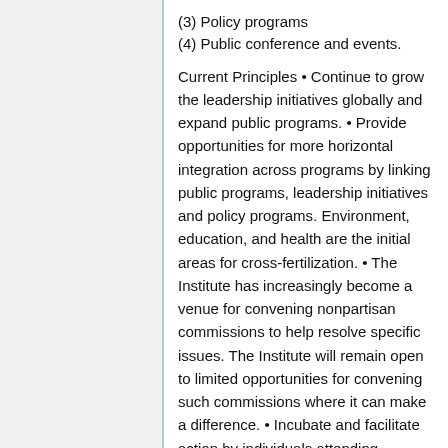(3) Policy programs
(4) Public conference and events.
Current Principles • Continue to grow the leadership initiatives globally and expand public programs. • Provide opportunities for more horizontal integration across programs by linking public programs, leadership initiatives and policy programs. Environment, education, and health are the initial areas for cross-fertilization. • The Institute has increasingly become a venue for convening nonpartisan commissions to help resolve specific issues. The Institute will remain open to limited opportunities for convening such commissions where it can make a difference. • Incubate and facilitate action by individuals attending Institute programs. • Expand the domestic geographic footprint with a